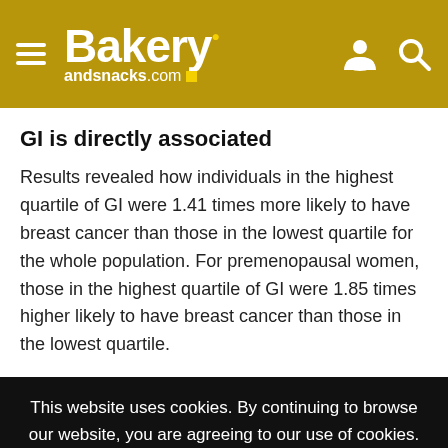Bakery andsnacks.com
GI is directly associated
Results revealed how individuals in the highest quartile of GI were 1.41 times more likely to have breast cancer than those in the lowest quartile for the whole population. For premenopausal women, those in the highest quartile of GI were 1.85 times higher likely to have breast cancer than those in the lowest quartile.
This website uses cookies. By continuing to browse our website, you are agreeing to our use of cookies. You can learn more about cookies by visiting our privacy & cookies policy page.